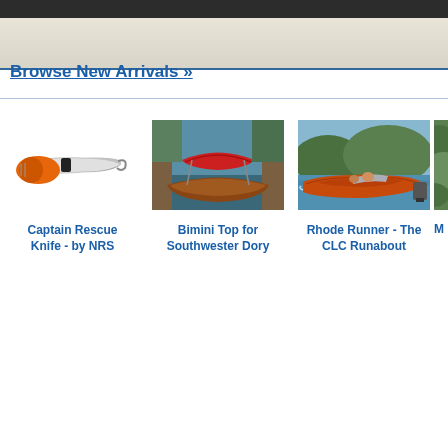Browse New Arrivals »
[Figure (photo): Captain Rescue Knife - by NRS orange and black folding knife]
Captain Rescue Knife - by NRS
[Figure (photo): Bimini Top for Southwester Dory wooden boat with red bimini top cover]
Bimini Top for Southwester Dory
[Figure (photo): Rhode Runner - The CLC Runabout orange wooden motorboat on water]
Rhode Runner - The CLC Runabout
[Figure (photo): Partially visible fourth product image showing green foliage]